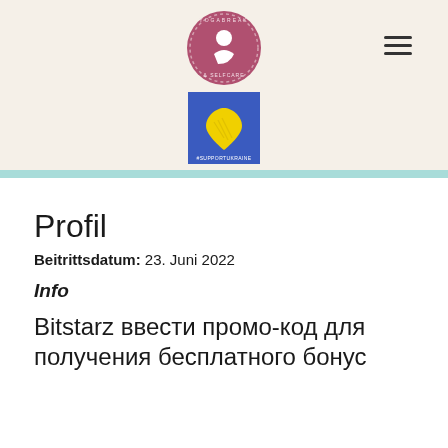[Figure (logo): YogaBreak & Selfcare circular logo in dusty rose/maroon color with meditating figure in center, and hamburger menu icon to the right]
[Figure (logo): Blue square with yellow heart shape and #SUPPORTUKRAINE text below]
Profil
Beitrittsdatum: 23. Juni 2022
Info
Bitstarz ввести промо-код для получения бесплатного бонус